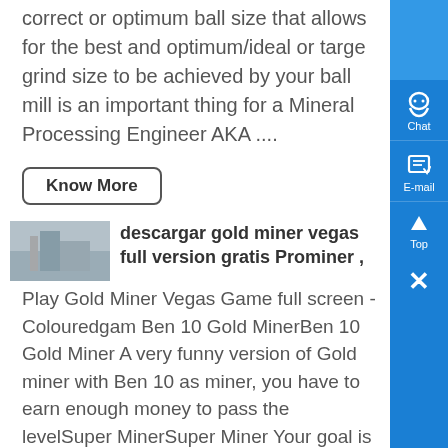correct or optimum ball size that allows for the best and optimum/ideal or target grind size to be achieved by your ball mill is an important thing for a Mineral Processing Engineer AKA ....
Know More
[Figure (photo): Small thumbnail photo showing mining/industrial equipment]
descargar gold miner vegas full version gratis Prominer ,
Play Gold Miner Vegas Game full screen - Colouredgam Ben 10 Gold MinerBen 10 Gold Miner A very funny version of Gold miner with Ben 10 as miner, you have to earn enough money to pass the levelSuper MinerSuper Miner Your goal is gold as a miner and collect gems from the patch to avoid